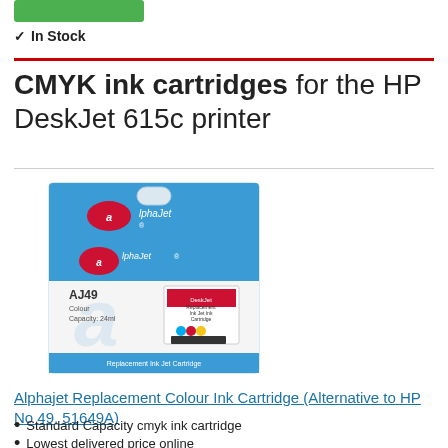[Figure (other): Green button (add to basket / buy button)]
✓ In Stock
CMYK ink cartridges for the HP DeskJet 615c printer
[Figure (photo): Alphajet Replacement Colour Ink Cartridge box (AJ49), blue and white packaging showing a CMYK ink cartridge. Brand: AlphaJet. Model AJ49.]
Alphajet Replacement Colour Ink Cartridge (Alternative to HP No 49, 51649A)
Standard Capacity cmyk ink cartridge
Lowest delivered price online